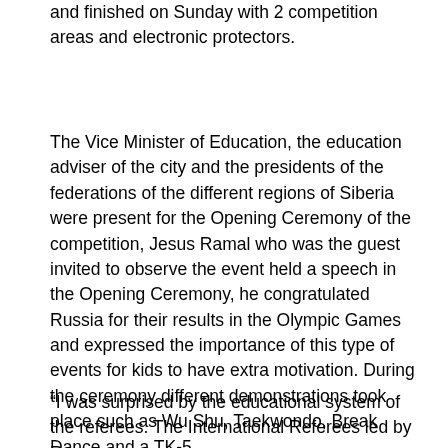and finished on Sunday with 2 competition areas and electronic protectors.
The Vice Minister of Education, the education adviser of the city and the presidents of the federations of the different regions of Siberia were present for the Opening Ceremony of the competition, Jesus Ramal who was the guest invited to observe the event held a speech in the Opening Ceremony, he congratulated Russia for their results in the Olympic Games and expressed the importance of this type of events for kids to have extra motivation. During the ceremony different demonstrations took place such as Wu Shu, Taekwondo, Break Dance and a TK-5.
“I was surprised by the educational system of the referees. The International Referees led by Roman